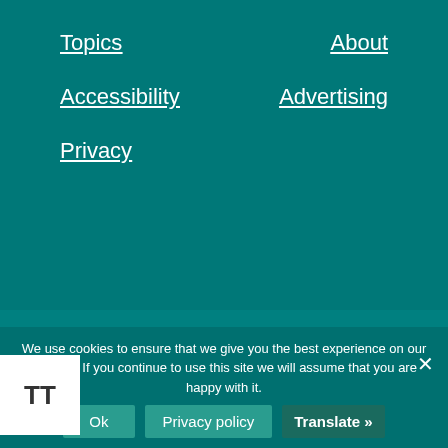Topics
About
Accessibility
Advertising
Privacy
AROUND EALING ISSUE
[Figure (photo): Cover of Around Ealing magazine, Summer 2022 issue, showing a Union Jack flag, with red masthead text and headlines about money, festival feeling, and nature.]
We use cookies to ensure that we give you the best experience on our website. If you continue to use this site we will assume that you are happy with it.
Ok
Privacy policy
Translate »